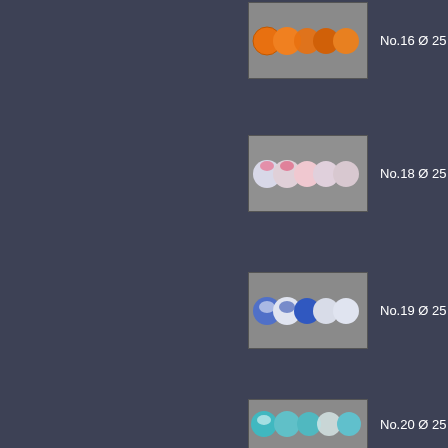[Figure (photo): Row of orange/amber glass marbles, No.16, diameter 25mm]
No.16 Ø 25 mm
[Figure (photo): Row of pink/white flower glass marbles, No.18, diameter 25mm]
No.18 Ø 25 mm
[Figure (photo): Row of blue/white flower glass marbles, No.19, diameter 25mm]
No.19 Ø 25 mm
[Figure (photo): Row of teal/light blue flower glass marbles, No.20, diameter 25mm]
No.20 Ø 25 mm
[Figure (photo): Row of green flower glass marbles, No.21, diameter 25mm]
No.21 Ø 25 mm
[Figure (photo): Row of yellow-green glass marbles, No.22, diameter 25mm]
No.22 Ø 25 mm